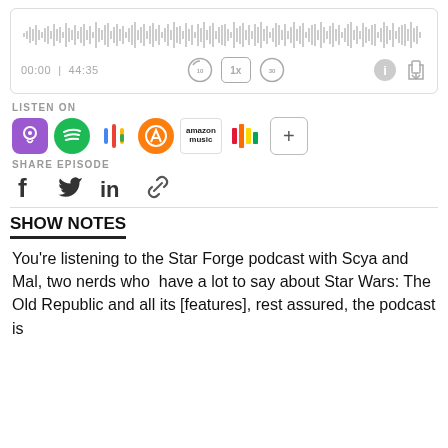[Figure (screenshot): Audio player widget showing waveform, time display 00:00 | 44:35, playback controls including skip back 10, 1x speed, skip forward 30, info and share icons]
LISTEN ON
[Figure (infographic): Row of podcast platform icons: Apple Podcasts (purple), Spotify (green), Google Podcasts (colorful dots), Overcast (orange), Amazon Music, iHeart Radio (colorful bars), and a + more button]
SHARE EPISODE
[Figure (infographic): Social share icons: Facebook (f), Twitter (bird), LinkedIn (in), chain/link icon]
SHOW NOTES
You're listening to the Star Forge podcast with Scya and Mal, two nerds who  have a lot to say about Star Wars: The Old Republic and all its [features], rest assured, the podcast is